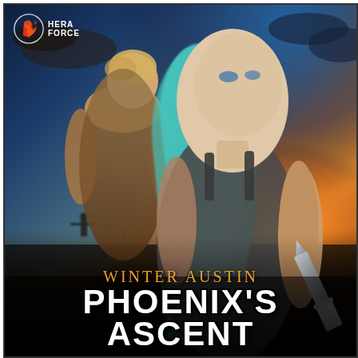[Figure (illustration): Book cover for 'Phoenix's Ascent' by Winter Austin. Published by Hera Force. Features a woman with teal/mint hair holding a knife in the foreground, looking back over her shoulder. A shirtless blond man stands behind her. Background shows a dramatic sunset/sunrise sky in orange and blue with a dark silhouetted figure in the distance. The bottom third fades to dark ground.]
WINTER AUSTIN
PHOENIX'S ASCENT